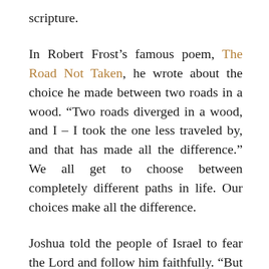scripture.
In Robert Frost's famous poem, The Road Not Taken, he wrote about the choice he made between two roads in a wood. “Two roads diverged in a wood, and I – I took the one less traveled by, and that has made all the difference.” We all get to choose between completely different paths in life. Our choices make all the difference.
Joshua told the people of Israel to fear the Lord and follow him faithfully. “But if serving the Lord seems undesirable to you, then choose for yourselves this day whom you will